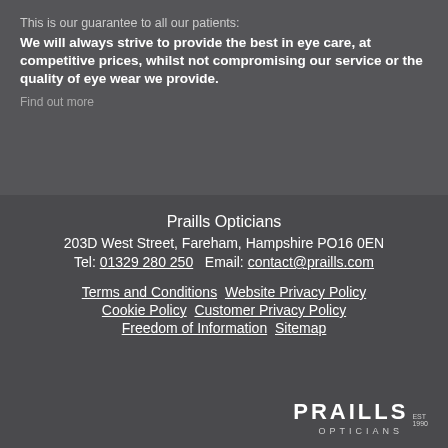This is our guarantee to all our patients:
We will always strive to provide the best in eye care, at competitive prices, whilst not compromising our service or the quality of eye wear we provide.
Find out more
Praills Opticians
203D West Street, Fareham, Hampshire PO16 0EN
Tel: 01329 280 250   Email: contact@praills.com
Terms and Conditions   Website Privacy Policy   Cookie Policy   Customer Privacy Policy   Freedom of Information   Sitemap
[Figure (logo): Praills Opticians logo with PRAILLS in bold letters, EST 1990, and OPTICIANS below]